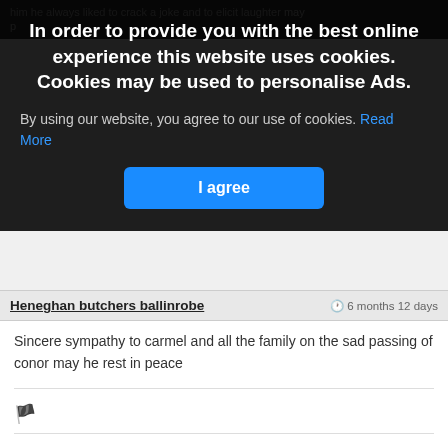[Figure (screenshot): Cookie consent overlay on a webpage with dark semi-transparent background. Contains bold white heading about cookies, body text about agreeing to use of cookies with a 'Read More' link, and a blue 'I agree' button. Below the overlay are two user comments: one from 'Heneghan butchers ballinrobe' and one from 'Bernie Morley', both expressing condolences.]
In order to provide you with the best online experience this website uses cookies. Cookies may be used to personalise Ads.
By using our website, you agree to our use of cookies. Read More
I agree
Heneghan butchers ballinrobe
Sincere sympathy to carmel and all the family on the sad passing of conor may he rest in peace
Bernie Morley
Condolences to Carmel and all the O Malley family on the death of Conor a pure gentleman May he Rip ?